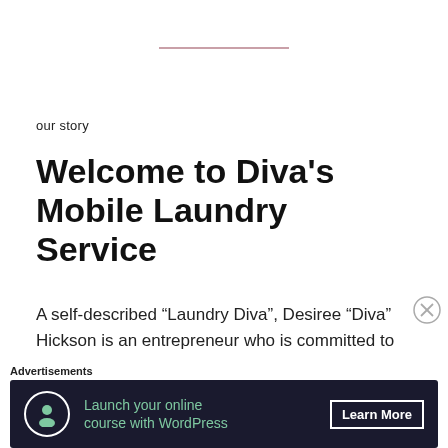our story
Welcome to Diva's Mobile Laundry Service
A self-described “Laundry Diva”, Desiree “Diva” Hickson is an entrepreneur who is committed to serving the Colorado Springs community and providing mobile laundry services that are second to none. She has spent the last 10+ years honing her skills, and is
[Figure (infographic): Advertisement banner with dark navy background. Shows an icon of a person inside a circle, text 'Launch your online course with WordPress' in green, and a 'Learn More' button.]